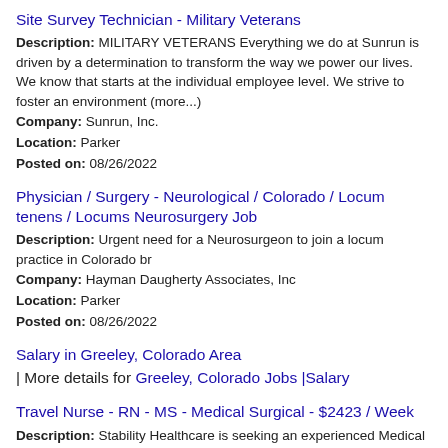Site Survey Technician - Military Veterans
Description: MILITARY VETERANS Everything we do at Sunrun is driven by a determination to transform the way we power our lives. We know that starts at the individual employee level. We strive to foster an environment (more...)
Company: Sunrun, Inc.
Location: Parker
Posted on: 08/26/2022
Physician / Surgery - Neurological / Colorado / Locum tenens / Locums Neurosurgery Job
Description: Urgent need for a Neurosurgeon to join a locum practice in Colorado br
Company: Hayman Daugherty Associates, Inc
Location: Parker
Posted on: 08/26/2022
Salary in Greeley, Colorado Area | More details for Greeley, Colorado Jobs |Salary
Travel Nurse - RN - MS - Medical Surgical - $2423 / Week
Description: Stability Healthcare is seeking an experienced Medical Surgical Registered Nurse for an exciting Travel Nursing job in